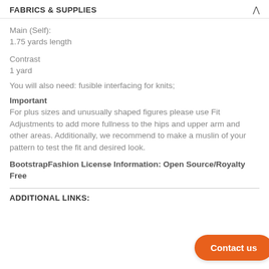FABRICS & SUPPLIES
Main (Self):
1.75 yards length
Contrast
1 yard
You will also need: fusible interfacing for knits;
Important
For plus sizes and unusually shaped figures please use Fit Adjustments to add more fullness to the hips and upper arm and other areas. Additionally, we recommend to make a muslin of your pattern to test the fit and desired look.
BootstrapFashion License Information: Open Source/Royalty Free
ADDITIONAL LINKS: